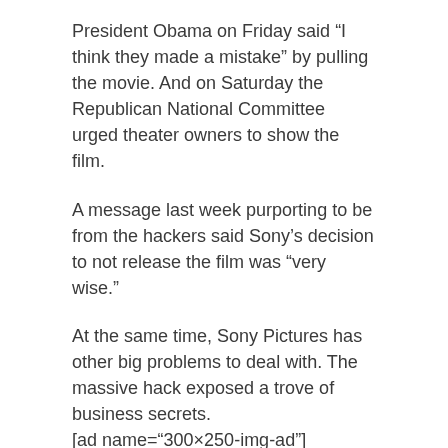President Obama on Friday said “I think they made a mistake” by pulling the movie. And on Saturday the Republican National Committee urged theater owners to show the film.
A message last week purporting to be from the hackers said Sony’s decision to not release the film was “very wise.”
At the same time, Sony Pictures has other big problems to deal with. The massive hack exposed a trove of business secrets.
[ad name=“300×250-img-ad”]
#James Franco
#Seth Rogen
#The Interview